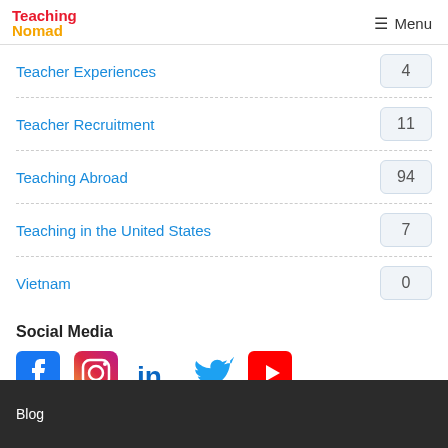Teaching Nomad — Menu
Teacher Experiences 4
Teacher Recruitment 11
Teaching Abroad 94
Teaching in the United States 7
Vietnam 0
Social Media
[Figure (logo): Social media icons: Facebook, Instagram, LinkedIn, Twitter, YouTube]
Blog